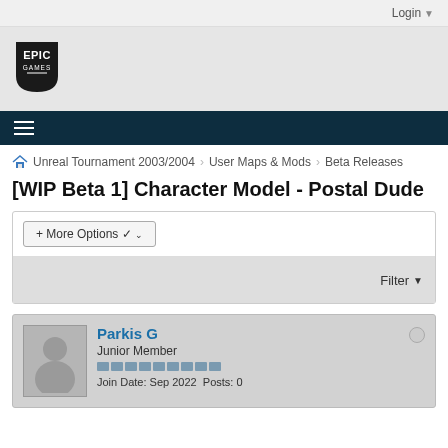Login ▼
[Figure (logo): Epic Games logo - shield shape with EPIC GAMES text]
≡ (hamburger menu)
Unreal Tournament 2003/2004 › User Maps & Mods › Beta Releases
[WIP Beta 1] Character Model - Postal Dude
+ More Options ▾
Filter ▼
Parkis G
Junior Member
Join Date: Sep 2022  Posts: 0